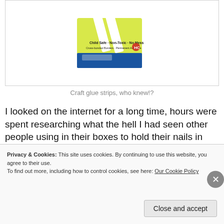[Figure (photo): Product box of craft glue strips — yellow and blue box labeled 'Child Safe · Non-Toxic · No Mess, Cross-bonded Borders · Permanent Adhesive']
Craft glue strips, who knew!?
I looked on the internet for a long time, hours were spent researching what the hell I had seen other people using in their boxes to hold their nails in place. I asked around and no one would tell me. Now, I don't know why people are like that but lucky for you... I am not. I was using craft glue strips
Privacy & Cookies: This site uses cookies. By continuing to use this website, you agree to their use.
To find out more, including how to control cookies, see here: Our Cookie Policy
Close and accept